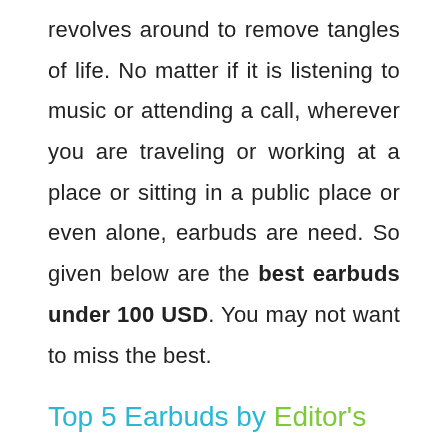revolves around to remove tangles of life. No matter if it is listening to music or attending a call, wherever you are traveling or working at a place or sitting in a public place or even alone, earbuds are need. So given below are the best earbuds under 100 USD. You may not want to miss the best.
Top 5 Earbuds by Editor's